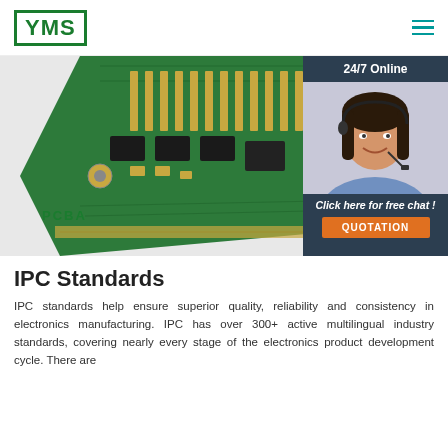YMS logo and navigation menu
[Figure (photo): A green printed circuit board (PCB/PCBA) photographed at an angle, showing various electronic components, memory slots, and traces on a green PCB.]
[Figure (photo): 24/7 Online chat widget featuring a smiling woman wearing a telephone headset, with a dark navy background, italic white text 'Click here for free chat!', and an orange 'QUOTATION' button.]
IPC Standards
IPC standards help ensure superior quality, reliability and consistency in electronics manufacturing. IPC has over 300+ active multilingual industry standards, covering nearly every stage of the electronics product development cycle. There are